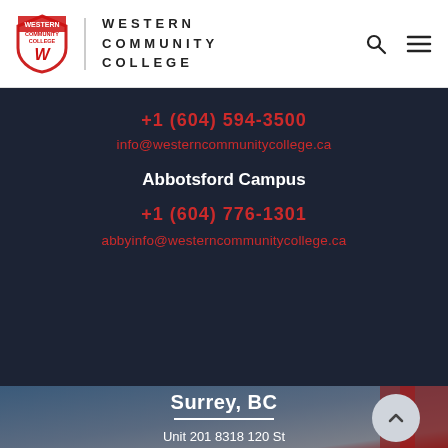[Figure (logo): Western Community College logo with shield crest and college name text]
+1 (604) 594-3500
info@westerncommunitycollege.ca
Abbotsford Campus
+1 (604) 776-1301
abbyinfo@westerncommunitycollege.ca
[Figure (photo): Surrey BC campus photo background with building and sky]
Surrey, BC
Unit 201 8318 120 St